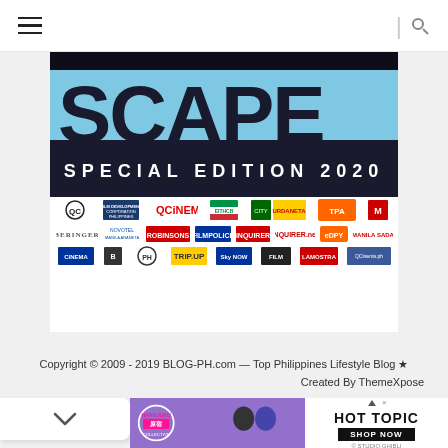[Figure (screenshot): Website navigation bar with hamburger menu icon on left and search icon on right]
[Figure (illustration): SCAPE Special Edition 2020 banner with large bold text on blue/black background and sponsor logos below]
Copyright © 2009 - 2019 BLOG-PH.com — Top Philippines Lifestyle Blog ★
Created By ThemeXpose
[Figure (screenshot): Chevron down button and advertisement banner for Harajuku Collective and Hot Topic]